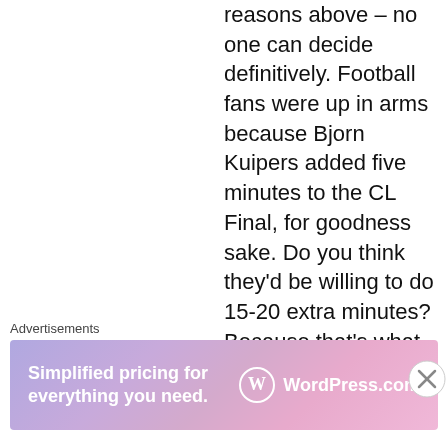reasons above – no one can decide definitively. Football fans were up in arms because Bjorn Kuipers added five minutes to the CL Final, for goodness sake. Do you think they'd be willing to do 15-20 extra minutes? Because that's what it'd be.
Advertisements
[Figure (screenshot): WordPress.com advertisement banner with gradient purple/pink background. Text reads 'Simplified pricing for everything you need.' with WordPress.com logo on the right.]